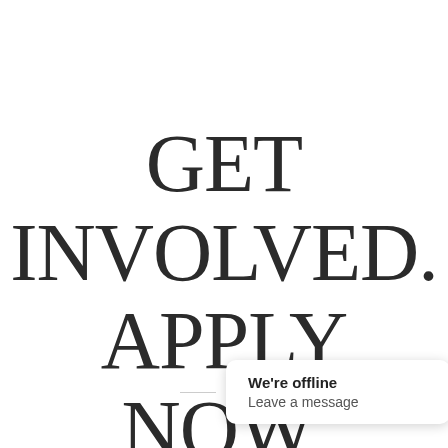GET INVOLVED. APPLY NOW.
[Figure (other): Chat widget popup showing 'We're offline' and 'Leave a message' with a blue circular chat icon]